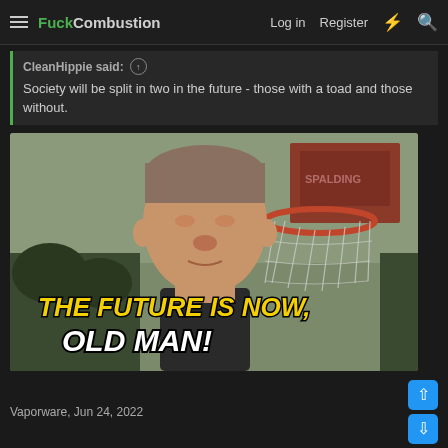FuckCombustion — Log in  Register
CleanHippie said: ↑
Society will be split in two in the future - those with a toad and those without.
[Figure (photo): A young boy standing in front of a basketball hoop with overlaid meme text reading 'THE FUTURE IS NOW, OLD MAN!']
Vaporware, Jun 24, 2022
Ramahs, Jill NYC, Dan Morrison and 6 others